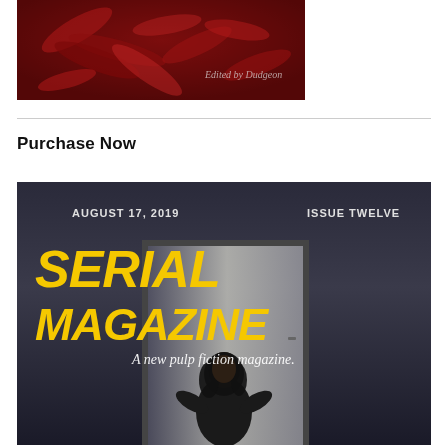[Figure (illustration): Book cover with dark red textured background and text 'Edited by Dudgeon' in light script font]
Purchase Now
[Figure (illustration): Magazine cover for Serial Magazine, Issue Twelve, August 17 2019. Large yellow bold text 'SERIAL MAGAZINE'. Subtitle 'A new pulp fiction magazine.' in italic white. Dark moody background with a female figure in a black coat standing in a doorway.]